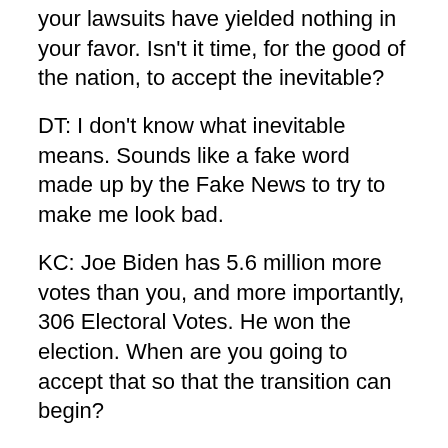your lawsuits have yielded nothing in your favor.  Isn't it time, for the good of the nation, to accept the inevitable?
DT: I don't know what inevitable means.  Sounds like a fake word made up by the Fake News to try to make me look bad.
KC: Joe Biden has 5.6 million more votes than you, and more importantly, 306 Electoral Votes.  He won the election.  When are you going to accept that so that the transition can begin?
DT: The only result I will accept it the true one.  I won.  I am the chosen one by the American people.  End of story.
KC: Again, I have to point out that Joe Biden won 306 Electoral Votes.  That's a clear majority, which makes him the winner.  The Constitution states that the winner of the